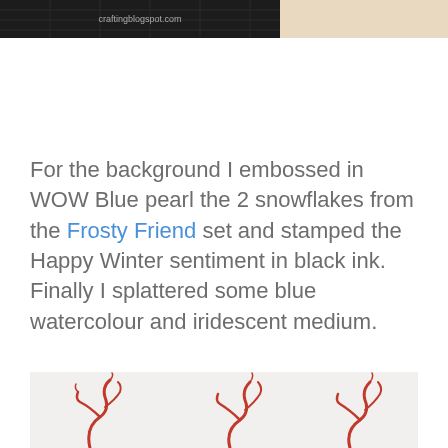[Figure (photo): Top portion of a crafting photo showing a grid cutting mat with text 'craftingblogspot.com' and a beige/cream surface to the right]
For the background I embossed in WOW Blue pearl the 2 snowflakes from the Frosty Friend set and stamped the Happy Winter sentiment in black ink. Finally I splattered some blue watercolour and iridescent medium.
[Figure (photo): Bottom portion showing red decorative branch/vine embellishments on a white/light background]